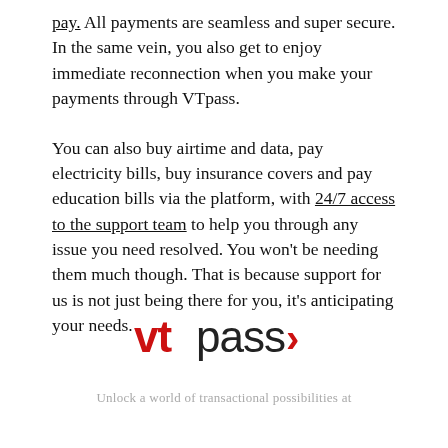pay. All payments are seamless and super secure. In the same vein, you also get to enjoy immediate reconnection when you make your payments through VTpass.
You can also buy airtime and data, pay electricity bills, buy insurance covers and pay education bills via the platform, with 24/7 access to the support team to help you through any issue you need resolved. You won't be needing them much though. That is because support for us is not just being there for you, it's anticipating your needs.
[Figure (logo): VTpass logo: 'vt' in red and 'pass' in dark gray with a red chevron arrow to the right]
Unlock a world of transactional possibilities at